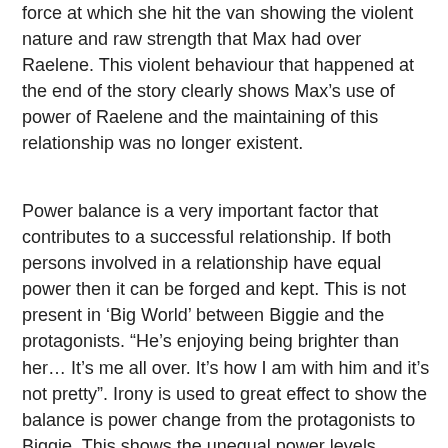force at which she hit the van showing the violent nature and raw strength that Max had over Raelene. This violent behaviour that happened at the end of the story clearly shows Max's use of power of Raelene and the maintaining of this relationship was no longer existent.
Power balance is a very important factor that contributes to a successful relationship. If both persons involved in a relationship have equal power then it can be forged and kept. This is not present in ‘Big World’ between Biggie and the protagonists. “He’s enjoying being brighter than her… It’s me all over. It’s how I am with him and it’s not pretty”. Irony is used to great effect to show the balance is power change from the protagonists to Biggie. This shows the unequal power levels between the protagonist and Biggie and that he believes that he is more intelligent making him the